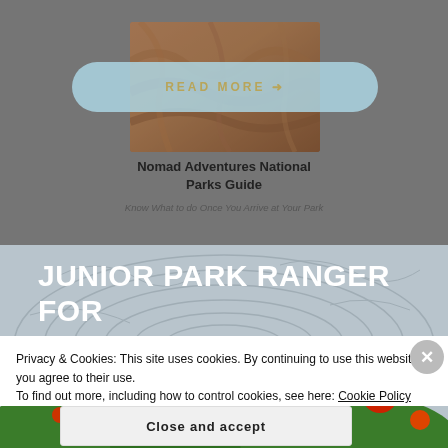[Figure (screenshot): Dimmed background showing a canyon rock formation image with a light blue 'READ MORE →' button overlaid on top, and below the image: title 'Nomad Adventures National Parks Guide' and subtitle 'Know What to do Once You Arrive at Your Park']
Nomad Adventures National Parks Guide
Know What to do Once You Arrive at Your Park
[Figure (screenshot): Background showing a topographic map with colorful cartoon landscape (green hills, red/yellow balloons) and large white bold text 'JUNIOR PARK RANGER FOR ALL AGES']
JUNIOR PARK RANGER FOR ALL AGES
Privacy & Cookies: This site uses cookies. By continuing to use this website, you agree to their use.
To find out more, including how to control cookies, see here: Cookie Policy
Close and accept